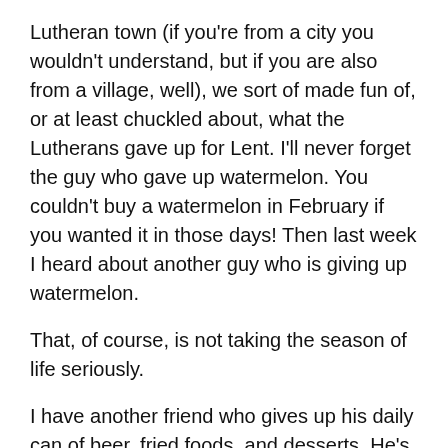Lutheran town (if you’re from a city you wouldn’t understand, but if you are also from a village, well), we sort of made fun of, or at least chuckled about, what the Lutherans gave up for Lent. I’ll never forget the guy who gave up watermelon. You couldn’t buy a watermelon in February if you wanted it in those days! Then last week I heard about another guy who is giving up watermelon.
That, of course, is not taking the season of life seriously.
I have another friend who gives up his daily can of beer, fried foods, and desserts. He’s in his 80s. He wonders why he feels so good physically during that time and loses up to 15 lbs. (All of which he replaces on Easter Sunday!)
Right now, I’m at a conference. I’m usually very busy during these things, but this year seems to be crazy.